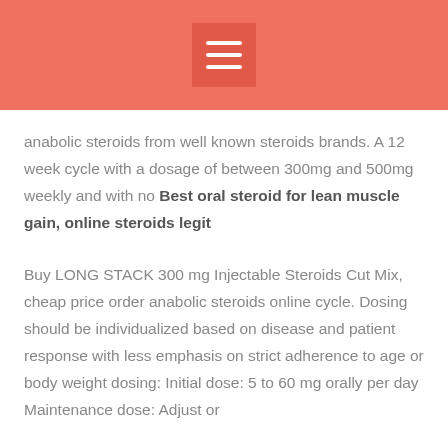[Figure (other): Orange header bar with hamburger menu icon (three white horizontal lines) on a darker orange square background]
anabolic steroids from well known steroids brands. A 12 week cycle with a dosage of between 300mg and 500mg weekly and with no Best oral steroid for lean muscle gain, online steroids legit
Buy LONG STACK 300 mg Injectable Steroids Cut Mix, cheap price order anabolic steroids online cycle. Dosing should be individualized based on disease and patient response with less emphasis on strict adherence to age or body weight dosing: Initial dose: 5 to 60 mg orally per day Maintenance dose: Adjust or